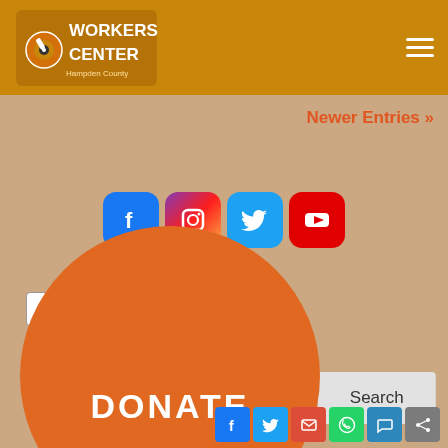[Figure (logo): Workers Center logo with tools and text on orange/amber background header]
Newer Entries »
[Figure (infographic): Social media icons row: Facebook (blue), Instagram (pink/purple gradient), Twitter (light blue), YouTube (red)]
[Figure (screenshot): Google Translate language selector dropdown showing 'Select Language']
Powered by Google Translate
[Figure (screenshot): Search input field with Search button]
[Figure (infographic): Large orange circular DONATE button partially visible at bottom]
[Figure (infographic): Bottom share icons: Facebook, Twitter, Email, WhatsApp, SMS, Share]